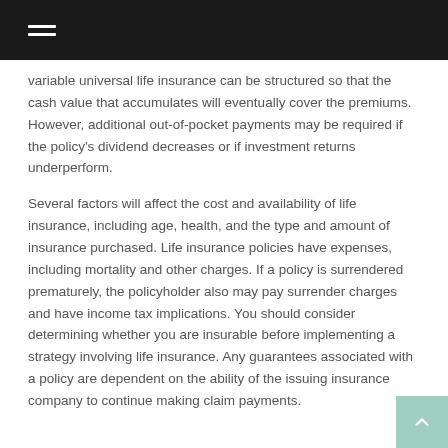variable universal life insurance can be structured so that the cash value that accumulates will eventually cover the premiums. However, additional out-of-pocket payments may be required if the policy's dividend decreases or if investment returns underperform.
Several factors will affect the cost and availability of life insurance, including age, health, and the type and amount of insurance purchased. Life insurance policies have expenses, including mortality and other charges. If a policy is surrendered prematurely, the policyholder also may pay surrender charges and have income tax implications. You should consider determining whether you are insurable before implementing a strategy involving life insurance. Any guarantees associated with a policy are dependent on the ability of the issuing insurance company to continue making claim payments.